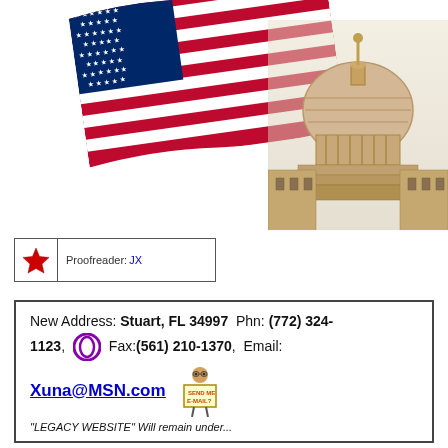[Figure (illustration): American flag waving with US Capitol dome in the background, decorative patriotic header image]
| ★ (red star icon) | Proofreader: JX |
New Address: Stuart, FL 34997  Phn: (772) 324-1123,  Fax:(561) 210-1370,  Email: Xuna@MSN.com
"LEGACY WEBSITE" Will remain under...